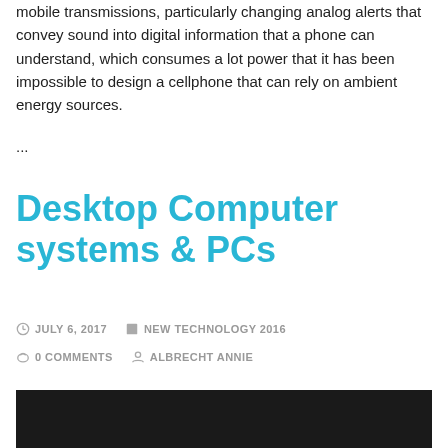mobile transmissions, particularly changing analog alerts that convey sound into digital information that a phone can understand, which consumes a lot power that it has been impossible to design a cellphone that can rely on ambient energy sources.
...
Desktop Computer systems & PCs
JULY 6, 2017   NEW TECHNOLOGY 2016   0 COMMENTS   ALBRECHT ANNIE
[Figure (photo): Dark/black background image at the bottom of the page]